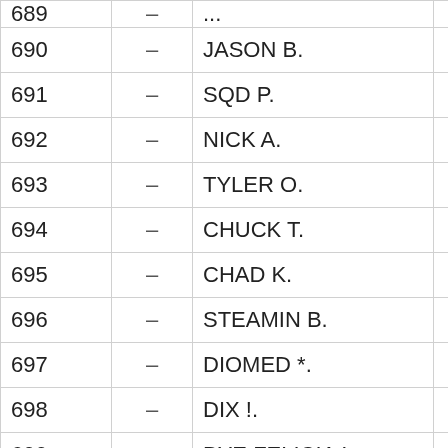| Rank |  | Name | Score |
| --- | --- | --- | --- |
| 689 | – | ... | 34,8... |
| 690 | – | JASON B. | 34,61 |
| 691 | – | SQD P. | 34,53 |
| 692 | – | NICK A. | 34,41 |
| 693 | – | TYLER O. | 34,37 |
| 694 | – | CHUCK T. | 34,30 |
| 695 | – | CHAD K. | 34,24 |
| 696 | – | STEAMIN B. | 34,14 |
| 697 | – | DIOMED *. | 34,10 |
| 698 | – | DIX !. | 34,07 |
| 699 | – | BYE  FELICIA !. | 33,98 |